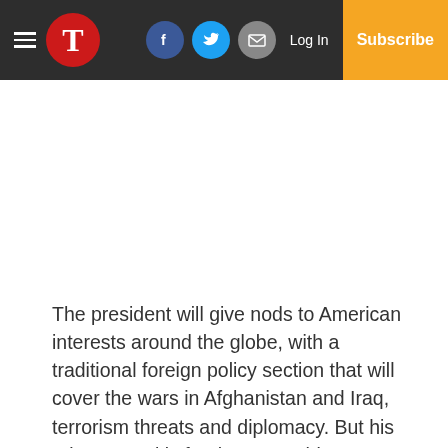T [Logo] [Facebook] [Twitter] [Mail] Log In Subscribe
The president will give nods to American interests around the globe, with a traditional foreign policy section that will cover the wars in Afghanistan and Iraq, terrorism threats and diplomacy. But his primary goal is for those watching to emerge with more confidence about the economy of the country and more clarity about his vision for it.